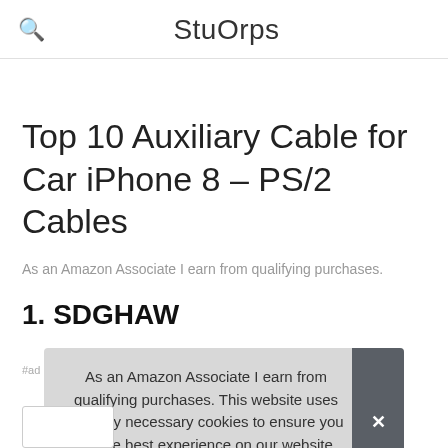StuOrps
Top 10 Auxiliary Cable for Car iPhone 8 – PS/2 Cables
As an Amazon Associate I earn from qualifying purchases.
1. SDGHAW
#ad
As an Amazon Associate I earn from qualifying purchases. This website uses the only necessary cookies to ensure you get the best experience on our website. More information